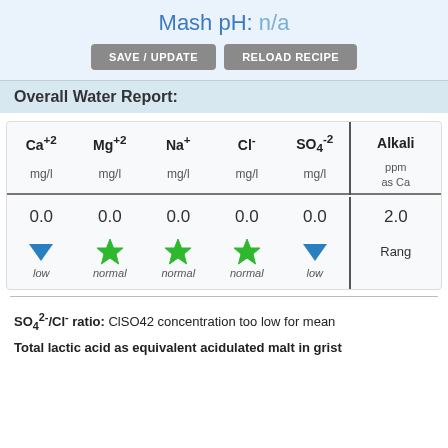Mash pH: n/a
SAVE / UPDATE | RELOAD RECIPE
Overall Water Report:
| Ca+2 | Mg+2 | Na+ | Cl- | SO4-2 | Alkali |
| --- | --- | --- | --- | --- | --- |
| mg/l | mg/l | mg/l | mg/l | mg/l | ppm as Ca |
| 0.0 | 0.0 | 0.0 | 0.0 | 0.0 | 2.0 |
| low | normal | normal | normal | low | Range |
SO4²⁻/Cl⁻ ratio: ClSO42 concentration too low for mean
Total lactic acid as equivalent acidulated malt in grist